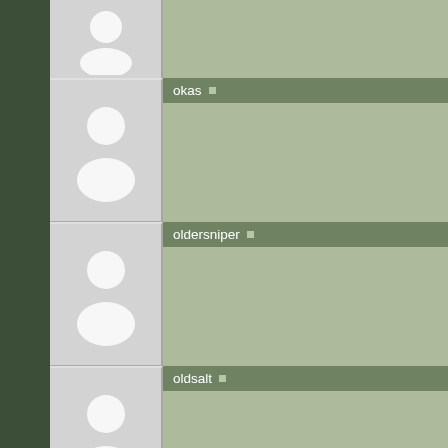okas •
oldersniper •
oldsalt •
OLIN •
outdoorconnection •
overthetop •
partsman •